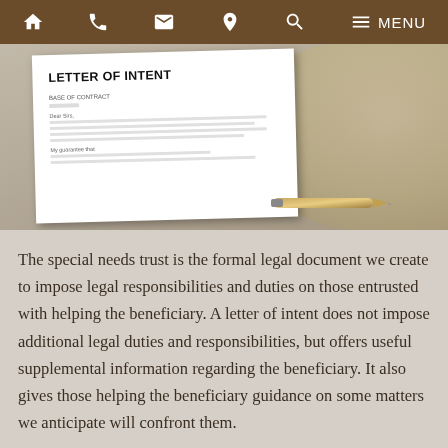Navigation bar with home, phone, email, location, search, and menu icons
[Figure (photo): Photo of a Letter of Intent document with a pen resting on it, against a light floral background]
The special needs trust is the formal legal document we create to impose legal responsibilities and duties on those entrusted with helping the beneficiary. A letter of intent does not impose additional legal duties and responsibilities, but offers useful supplemental information regarding the beneficiary. It also gives those helping the beneficiary guidance on some matters we anticipate will confront them.